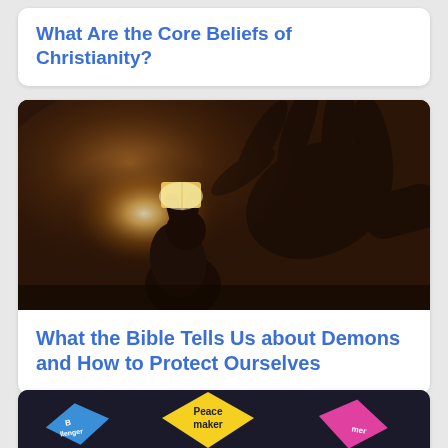What Are the Core Beliefs of Christianity?
[Figure (photo): Person kneeling in dark room holding a glowing book with a large hand shadow cast on the wall behind them]
What the Bible Tells Us about Demons and How to Protect Ourselves
[Figure (photo): Partial view of colorful diamond-shaped sticky notes on a dark chalkboard, including a yellow one labeled Peacemaker, a blue one, and a pink one]